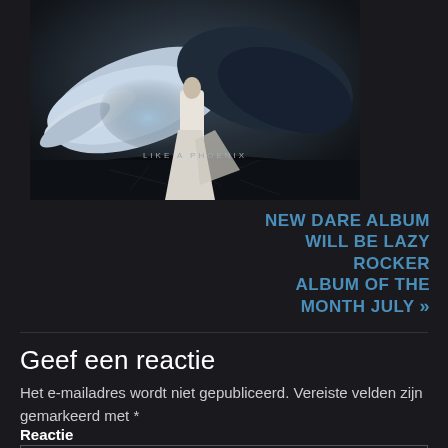[Figure (illustration): Album cover for 'Like a Phoenix' by Dare, showing a figure with large wings standing on cracked dark ground with dramatic lighting. Text 'LIKE A PHOENIX' appears at the bottom of the image.]
NEW DARE ALBUM WILL BE LAZY ROCKER ALBUM OF THE MONTH JULY »
Geef een reactie
Het e-mailadres wordt niet gepubliceerd. Vereiste velden zijn gemarkeerd met *
Reactie